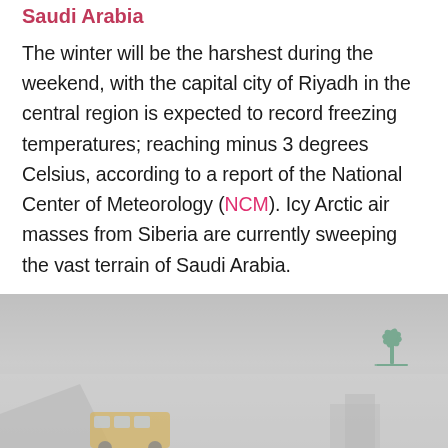Saudi Arabia
The winter will be the harshest during the weekend, with the capital city of Riyadh in the central region is expected to record freezing temperatures; reaching minus 3 degrees Celsius, according to a report of the National Center of Meteorology (NCM). Icy Arctic air masses from Siberia are currently sweeping the vast terrain of Saudi Arabia.
[Figure (photo): A hazy/foggy street scene in Saudi Arabia with vehicles and buildings barely visible through thick fog or dust. A Saudi NCM logo (stylized green palm tree and sword) is visible in the upper right corner of the image.]